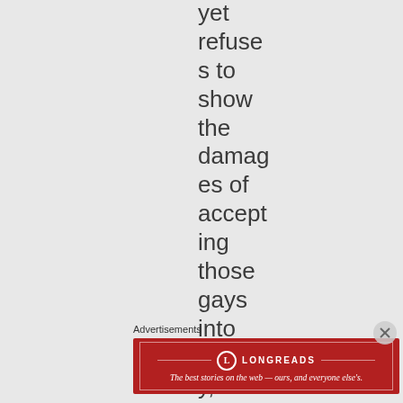yet refuses to show the damages of accepting those gays into society, all it
Advertisements
[Figure (other): Longreads advertisement banner with red background, Longreads logo and tagline: The best stories on the web — ours, and everyone else's.]